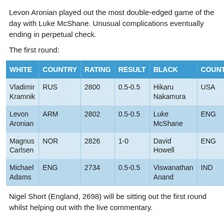Levon Aronian played out the most double-edged game of the day with Luke McShane. Unusual complications eventually ending in perpetual check.
The first round:
| WHITE | COUNTRY | RATING | RESULT | BLACK | COUNTRY |
| --- | --- | --- | --- | --- | --- |
| Vladimir Kramnik | RUS | 2800 | 0.5-0.5 | Hikaru Nakamura | USA |
| Levon Aronian | ARM | 2802 | 0.5-0.5 | Luke McShane | ENG |
| Magnus Carlsen | NOR | 2826 | 1-0 | David Howell | ENG |
| Michael Adams | ENG | 2734 | 0.5-0.5 | Viswanathan Anand | IND |
Nigel Short (England, 2698) will be sitting out the first round whilst helping out with the live commentary.